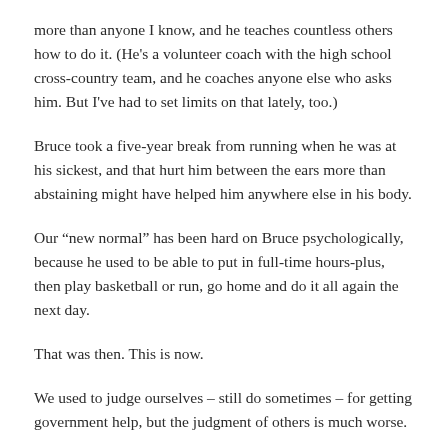more than anyone I know, and he teaches countless others how to do it. (He’s a volunteer coach with the high school cross-country team, and he coaches anyone else who asks him. But I’ve had to set limits on that lately, too.)
Bruce took a five-year break from running when he was at his sickest, and that hurt him between the ears more than abstaining might have helped him anywhere else in his body.
Our “new normal” has been hard on Bruce psychologically, because he used to be able to put in full-time hours-plus, then play basketball or run, go home and do it all again the next day.
That was then. This is now.
We used to judge ourselves – still do sometimes – for getting government help, but the judgment of others is much worse.